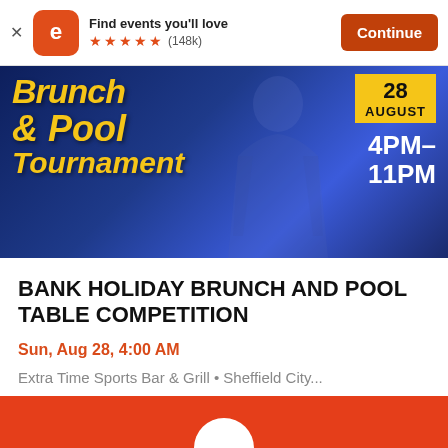Find events you'll love ★★★★★ (148k) Continue
[Figure (photo): Event banner image for Bank Holiday Brunch and Pool Tournament showing dancing figures in blue light with yellow text overlay. Date: 28 August, Time: 4PM-11PM shown on right side.]
BANK HOLIDAY BRUNCH AND POOL TABLE COMPETITION
Sun, Aug 28, 4:00 AM
Extra Time Sports Bar & Grill • Sheffield City...
£27.54 - £32.93